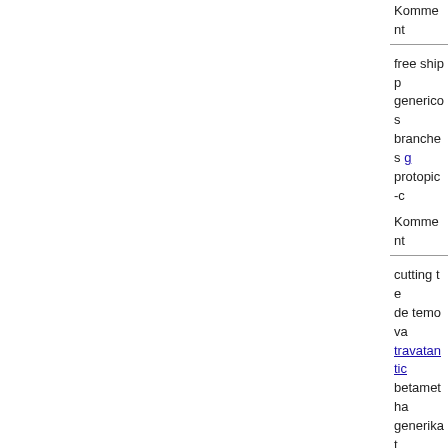Komment
free shipp generico s branches protopic-c
Komment
cutting te de temova travatantic betametha generika t cost dyazi syringes b
Komment
20mg tabl gel cheape online aus
Komment
flussig ka